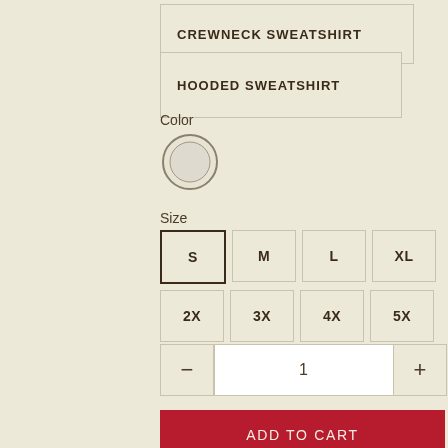CREWNECK SWEATSHIRT
HOODED SWEATSHIRT
Color
[Figure (other): Circular color swatch showing a light cream/off-white color with a grey border]
Size
S
M
L
XL
2X
3X
4X
5X
1
ADD TO CART